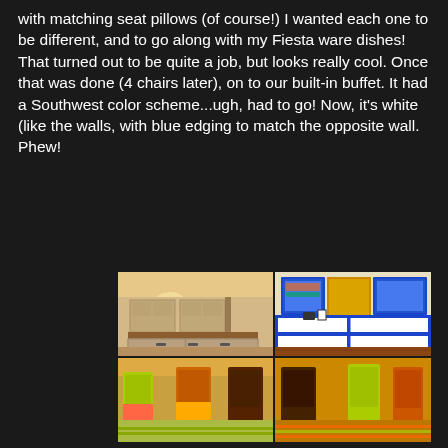with matching seat pillows (of course!)  I wanted each one to be different, and to go along with my Fiesta ware dishes!  That turned out to be quite a job, but looks really cool.  Once that was done (4 chairs later), on to our built-in buffet.  It had a Southwest color scheme...ugh, had to go!  Now, it's white (like the walls, with blue edging to match the opposite wall.  Phew!
[Figure (photo): Before and after photos of a dining room buffet makeover. Top left shows the original beige/neutral buffet with wooden countertop. Top right shows the renovated buffet painted white with bold blue trim. Bottom row shows colorful mismatched dining chairs in yellow-green, orange, brown, and lime green.]